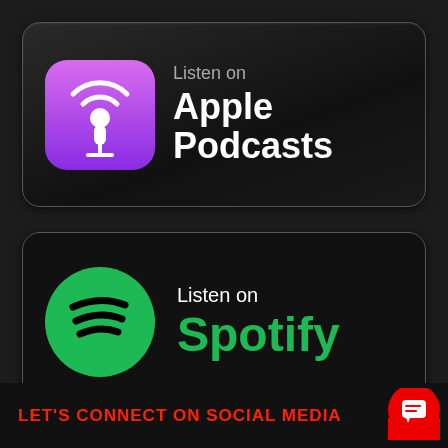[Figure (logo): Listen on Apple Podcasts badge with purple podcast icon]
[Figure (logo): Listen on Spotify badge with green Spotify logo]
LET'S CONNECT ON SOCIAL MEDIA